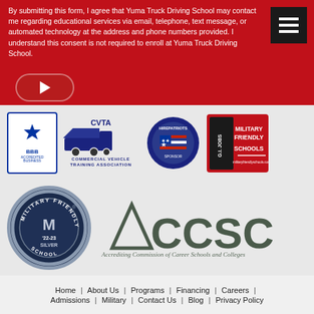By submitting this form, I agree that Yuma Truck Driving School may contact me regarding educational services via email, telephone, text message, or automated technology at the address and phone numbers provided. I understand this consent is not required to enroll at Yuma Truck Driving School.
[Figure (logo): BBB Accredited Business logo]
[Figure (logo): CVTA Commercial Vehicle Training Association logo]
[Figure (logo): HirePatriots Sponsor logo]
[Figure (logo): G.I. Jobs Military Friendly Schools logo]
[Figure (logo): Military Friendly School '22-23 Silver badge]
[Figure (logo): ACCSC Accrediting Commission of Career Schools and Colleges logo]
Home | About Us | Programs | Financing | Careers | Admissions | Military | Contact Us | Blog | Privacy Policy